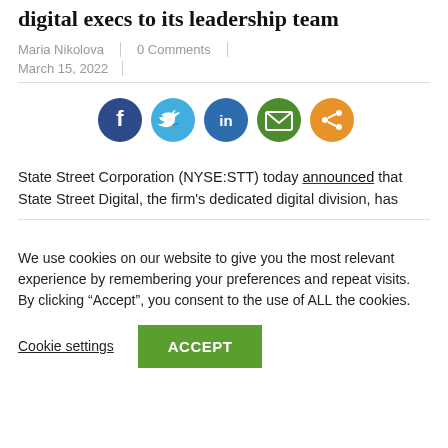digital execs to its leadership team
Maria Nikolova | 0 Comments | March 15, 2022
[Figure (infographic): Social share buttons: Facebook (dark blue), Twitter (light blue), LinkedIn (blue), Email (green), Share (orange)]
State Street Corporation (NYSE:STT) today announced that State Street Digital, the firm's dedicated digital division, has
We use cookies on our website to give you the most relevant experience by remembering your preferences and repeat visits. By clicking “Accept”, you consent to the use of ALL the cookies.
Cookie settings   ACCEPT